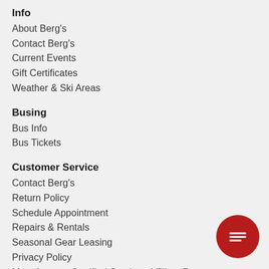Info
About Berg's
Contact Berg's
Current Events
Gift Certificates
Weather & Ski Areas
Busing
Bus Info
Bus Tickets
Customer Service
Contact Berg's
Return Policy
Schedule Appointment
Repairs & Rentals
Seasonal Gear Leasing
Privacy Policy
Manufacturer Certified Services Affiliate Program
Brands
Berg's Brands